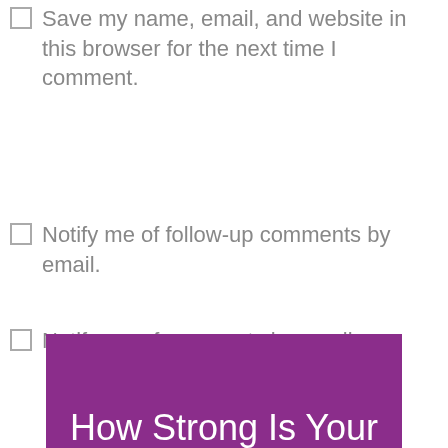Save my name, email, and website in this browser for the next time I comment.
Notify me of follow-up comments by email.
Notify me of new posts by email.
Submit Comment
How Strong Is Your